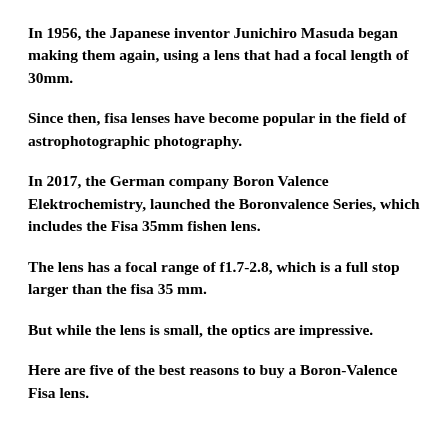In 1956, the Japanese inventor Junichiro Masuda began making them again, using a lens that had a focal length of 30mm.
Since then, fisa lenses have become popular in the field of astrophotographic photography.
In 2017, the German company Boron Valence Elektrochemistry, launched the Boronvalence Series, which includes the Fisa 35mm fishen lens.
The lens has a focal range of f1.7-2.8, which is a full stop larger than the fisa 35 mm.
But while the lens is small, the optics are impressive.
Here are five of the best reasons to buy a Boron-Valence Fisa lens.